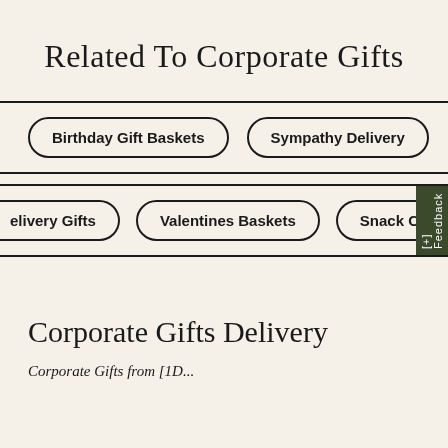Related To Corporate Gifts
Birthday Gift Baskets
Sympathy Delivery
elivery Gifts
Valentines Baskets
Snack Chr
Corporate Gifts Delivery
Corporate Gifts from [1D...